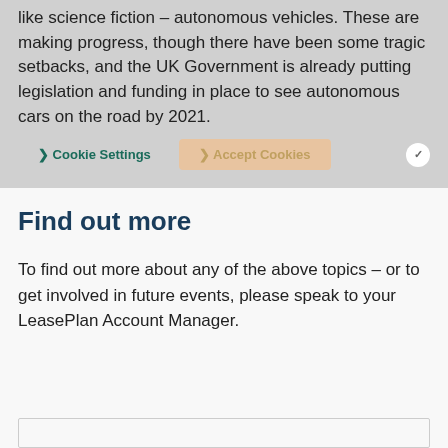like science fiction – autonomous vehicles. These are making progress, though there have been some tragic setbacks, and the UK Government is already putting legislation and funding in place to see autonomous cars on the road by 2021.
Find out more
To find out more about any of the above topics – or to get involved in future events, please speak to your LeasePlan Account Manager.